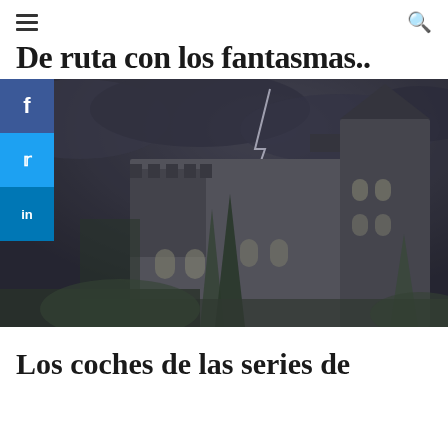☰  🔍
De ruta con los fantasmas..
[Figure (photo): Dark, moody HDR photograph of a gothic stone castle at night with stormy sky and lightning in the background. Trees flank the castle towers. Social media share buttons (Facebook, Twitter, LinkedIn) overlay the left side.]
Los coches de las series de